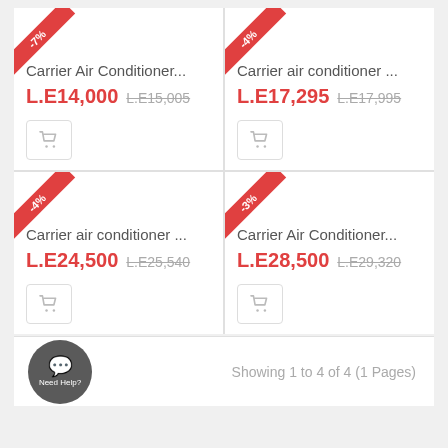[Figure (screenshot): Product card: Carrier Air Conditioner... Sale price L.E14,000, original L.E15,005, -7% ribbon, add to cart button]
[Figure (screenshot): Product card: Carrier air conditioner... Sale price L.E17,295, original L.E17,995, -4% ribbon, add to cart button]
[Figure (screenshot): Product card: Carrier air conditioner... Sale price L.E24,500, original L.E25,540, -4% ribbon, add to cart button]
[Figure (screenshot): Product card: Carrier Air Conditioner... Sale price L.E28,500, original L.E29,320, -3% ribbon, add to cart button]
Showing 1 to 4 of 4 (1 Pages)